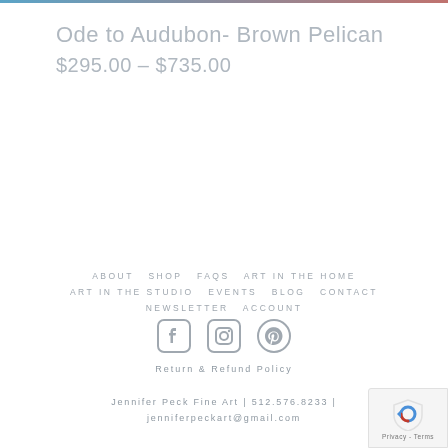Ode to Audubon- Brown Pelican
$295.00 – $735.00
ABOUT  SHOP  FAQS  ART IN THE HOME  ART IN THE STUDIO  EVENTS  BLOG  CONTACT  NEWSLETTER  ACCOUNT
[Figure (other): Social media icons: Facebook, Instagram, Pinterest]
Return & Refund Policy
Jennifer Peck Fine Art | 512.576.8233 | jenniferpeckart@gmail.com